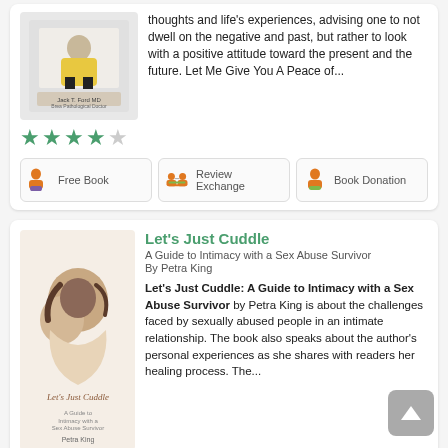thoughts and life's experiences, advising one to not dwell on the negative and past, but rather to look with a positive attitude toward the present and the future. Let Me Give You A Peace of...
[Figure (illustration): Book cover showing a person in yellow top, with author name below]
[Figure (illustration): 4 out of 5 green stars rating]
Free Book | Review Exchange | Book Donation
Let's Just Cuddle
A Guide to Intimacy with a Sex Abuse Survivor
By Petra King
Let's Just Cuddle: A Guide to Intimacy with a Sex Abuse Survivor by Petra King is about the challenges faced by sexually abused people in an intimate relationship. The book also speaks about the author's personal experiences as she shares with readers her healing process. The...
[Figure (illustration): Book cover for Let's Just Cuddle by Petra King showing two people cuddling]
[Figure (illustration): 5 out of 5 green stars rating]
Free Book | Review Exchange | Book Donation
Legend That You Are
Recreate the Story of Your Life
[Figure (illustration): Blue book cover with text 'What Are You Waiting For?']